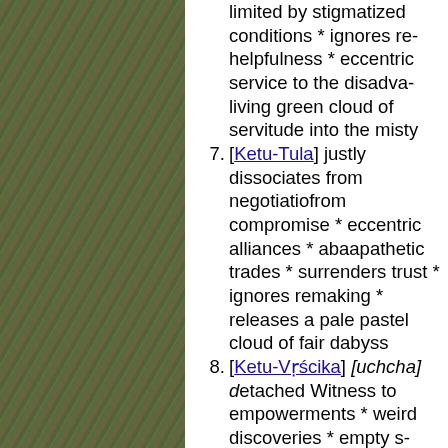limited by stigmatized conditions * ignores helpfulness * eccentric service to the disadvantaged * living green cloud of servitude into the misty
7. [Ketu-Tula] justly dissociates from negotiation * from compromise * eccentric alliances * abandons apathetic trades * surrenders trust * ignores reward-making * releases a pale pastel cloud of fair dealing abyss
8. [Ketu-Vṛścika] [uchcha] detached Witness to empowerments * weird discoveries * empty secret identity changes * dissolute penetrations * fearful catastrophic change * disregards terror * ignores initiations * uncertain rebirth * releases a red-eyed exploratory initiatives into the misty abyss
9. [Ketu-Dhanus] philosophically dissociates from * odd professors * dissolves indoctrination * belief * dispersed worldview * not limited by * eccentric teachings * peculiar convictions * catechesis * releases a warm golden cloud of the misty abyss
10. [Ketu-Makara-Draco] formally dissociates from * dissolves caste hierarchy * meaningless rules * walks away from social authority positions * executive roles * not limited by public protocol * conventional structure * disregards class barriers